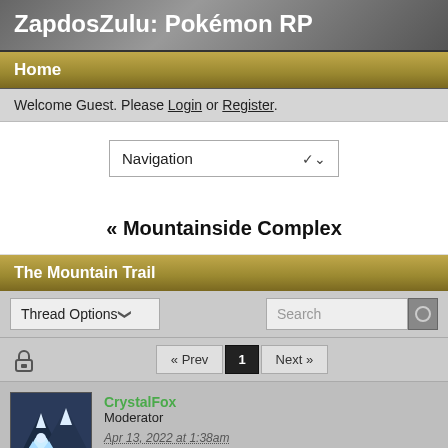ZapdosZulu: Pokémon RP
Home
Welcome Guest. Please Login or Register.
Navigation
« Mountainside Complex
The Mountain Trail
Thread Options
« Prev  1  Next »
CrystalFox
Moderator
Apr 13, 2022 at 1:38am